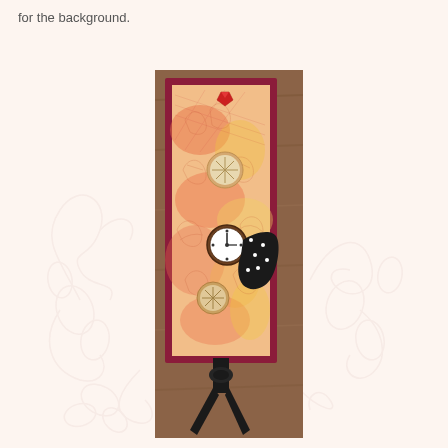for the background.
[Figure (photo): A handmade steampunk-style bookmark with a crimson/dark red card stock border, featuring a warm orange-pink mixed media background with floral/botanical stamp impressions. Decorated with circular clock face embellishments, a black hat or gear shape with white dot accents, a small red gem/diamond at the top, and a black ribbon tied at the bottom hanging off the bookmark.]